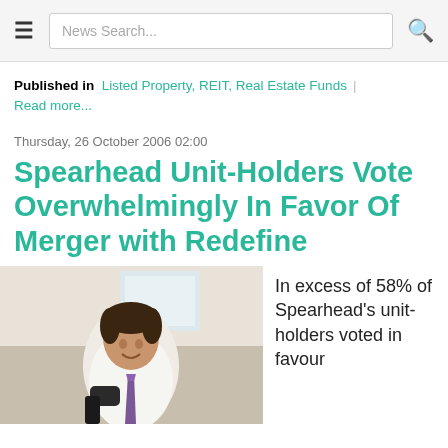≡  News Search...  🔍
Published in  Listed Property, REIT, Real Estate Funds | Read more...
Thursday, 26 October 2006 02:00
Spearhead Unit-Holders Vote Overwhelmingly In Favor Of Merger with Redefine
[Figure (photo): Photo of a man in a white shirt with a purple tie, smiling, holding something dark, indoors]
In excess of 58% of Spearhead's unit-holders voted in favour